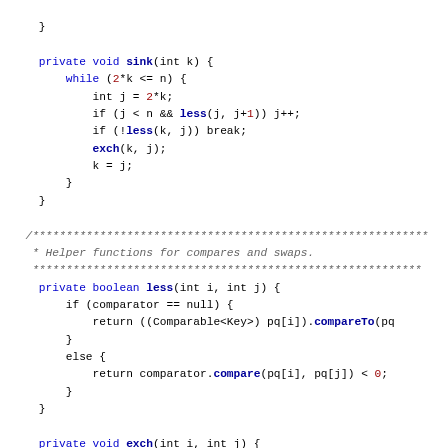Code snippet showing Java sink, less, and exch methods for a priority queue implementation
private void sink(int k) { ... }
/* Helper functions for compares and swaps. */
private boolean less(int i, int j) { ... }
private void exch(int i, int j) { ... }